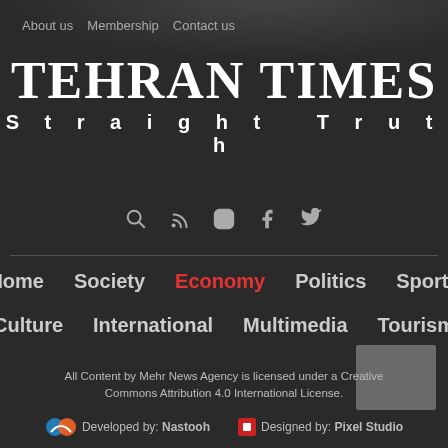About us   Membership   Contact us
TEHRAN TIMES
Straight Truth
[Figure (infographic): Row of social media/navigation icons: search magnifier, RSS feed, Instagram camera, Facebook f, Twitter bird]
Home   Society   Economy   Politics   Sports   Culture   International   Multimedia   Tourism
All Content by Mehr News Agency is licensed under a Creative Commons Attribution 4.0 International License.
Developed by: Nastooh   Designed by: Pixel Studio